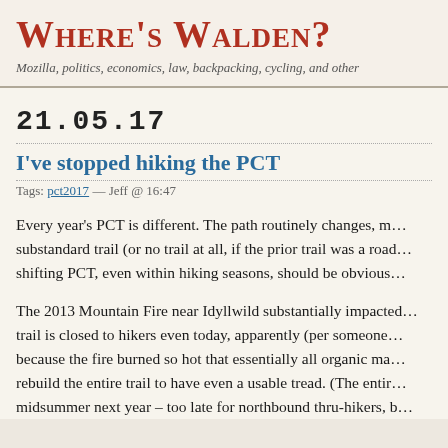Where's Walden?
Mozilla, politics, economics, law, backpacking, cycling, and other
21.05.17
I've stopped hiking the PCT
Tags: pct2017 — Jeff @ 16:47
Every year's PCT is different. The path routinely changes, m… substandard trail (or no trail at all, if the prior trail was a road… shifting PCT, even within hiking seasons, should be obvious…
The 2013 Mountain Fire near Idyllwild substantially impacted… trail is closed to hikers even today, apparently (per someone… because the fire burned so hot that essentially all organic ma… rebuild the entire trail to have even a usable tread. (The entir… midsummer next year – too late for northbound thru-hikers, b…